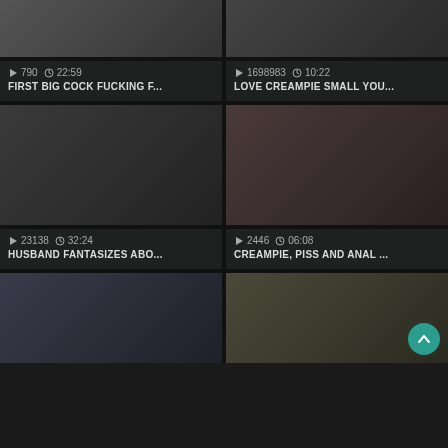[Figure (screenshot): Video thumbnail grid - top left: partial body image]
790  22:59
FIRST BIG COCK FUCKING F...
[Figure (screenshot): Video thumbnail grid - top right: partial body image]
1698983  10:22
LOVE CREAMPIE SMALL YOU...
[Figure (screenshot): Video thumbnail - middle left: couple scene]
23138  32:24
HUSBAND FANTASIZES ABO...
[Figure (screenshot): Video thumbnail - middle right: close-up scene with LECHICA watermark]
2446  06:08
CREAMPIE, PISS AND ANAL ...
[Figure (screenshot): Video thumbnail - bottom left: partial body]
[Figure (screenshot): Video thumbnail - bottom right: woman with back-to-top button overlay]